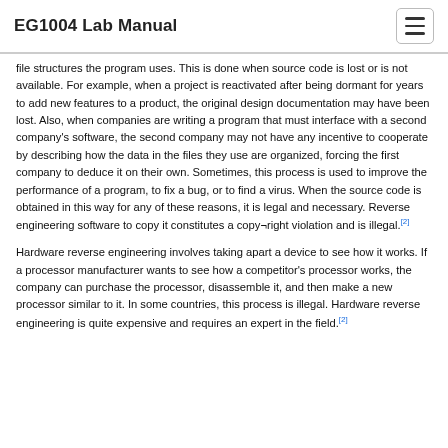EG1004 Lab Manual
file structures the program uses. This is done when source code is lost or is not available. For example, when a project is reactivated after being dormant for years to add new features to a product, the original design documentation may have been lost. Also, when companies are writing a program that must interface with a second company's software, the second company may not have any incentive to cooperate by describing how the data in the files they use are organized, forcing the first company to deduce it on their own. Sometimes, this process is used to improve the performance of a program, to fix a bug, or to find a virus. When the source code is obtained in this way for any of these reasons, it is legal and necessary. Reverse engineering software to copy it constitutes a copy¬right violation and is illegal.[2]
Hardware reverse engineering involves taking apart a device to see how it works. If a processor manufacturer wants to see how a competitor's processor works, the company can purchase the processor, disassemble it, and then make a new processor similar to it. In some countries, this process is illegal. Hardware reverse engineering is quite expensive and requires an expert in the field.[2]